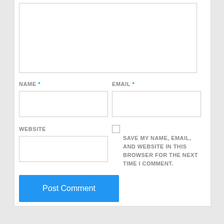[Figure (screenshot): Web comment form with textarea at top, NAME * and EMAIL * text input fields side by side, WEBSITE text input field, a checkbox with label 'SAVE MY NAME, EMAIL, AND WEBSITE IN THIS BROWSER FOR THE NEXT TIME I COMMENT.', and a blue 'Post Comment' button.]
NAME *
EMAIL *
WEBSITE
SAVE MY NAME, EMAIL, AND WEBSITE IN THIS BROWSER FOR THE NEXT TIME I COMMENT.
Post Comment